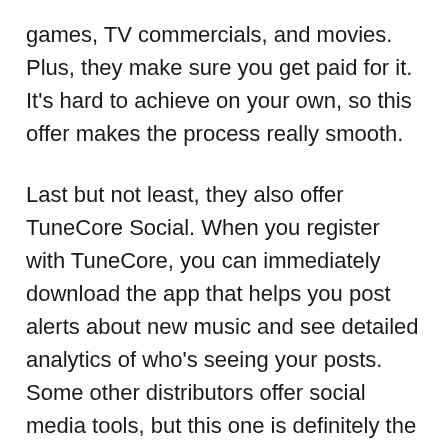games, TV commercials, and movies. Plus, they make sure you get paid for it. It's hard to achieve on your own, so this offer makes the process really smooth.
Last but not least, they also offer TuneCore Social. When you register with TuneCore, you can immediately download the app that helps you post alerts about new music and see detailed analytics of who's seeing your posts. Some other distributors offer social media tools, but this one is definitely the best.
Other cool features: